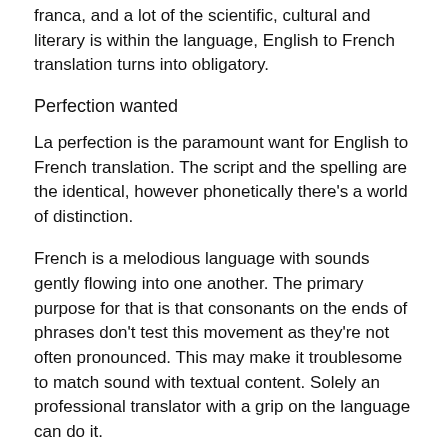franca, and a lot of the scientific, cultural and literary is within the language, English to French translation turns into obligatory.
Perfection wanted
La perfection is the paramount want for English to French translation. The script and the spelling are the identical, however phonetically there’s a world of distinction.
French is a melodious language with sounds gently flowing into one another. The primary purpose for that is that consonants on the ends of phrases don’t test this movement as they’re not often pronounced. This may make it troublesome to match sound with textual content. Solely an professional translator with a grip on the language can do it.
In contrast to in English, each French phrase has a